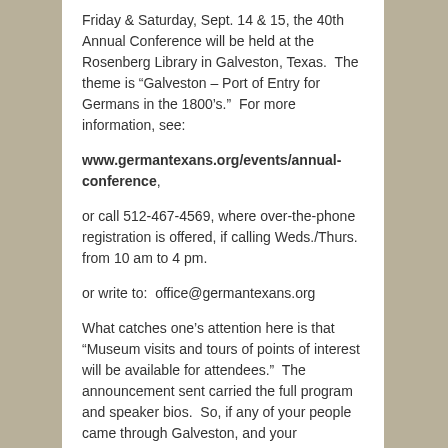Friday & Saturday, Sept. 14 & 15, the 40th Annual Conference will be held at the Rosenberg Library in Galveston, Texas.  The theme is "Galveston – Port of Entry for Germans in the 1800's."  For more information, see:
www.germantexans.org/events/annual-conference,
or call 512-467-4569, where over-the-phone registration is offered, if calling Weds./Thurs. from 10 am to 4 pm.
or write to:  office@germantexans.org
What catches one's attention here is that "Museum visits and tours of points of interest will be available for attendees."  The announcement sent carried the full program and speaker bios.  So, if any of your people came through Galveston, and your reasonably close, you might want to consider driving or flying in for this….
Posted in Events